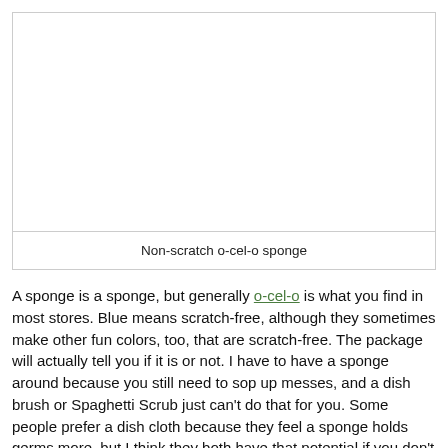[Figure (photo): Image of a non-scratch o-cel-o sponge (white/blank area placeholder)]
Non-scratch o-cel-o sponge
A sponge is a sponge, but generally o-cel-o is what you find in most stores. Blue means scratch-free, although they sometimes make other fun colors, too, that are scratch-free. The package will actually tell you if it is or not. I have to have a sponge around because you still need to sop up messes, and a dish brush or Spaghetti Scrub just can't do that for you. Some people prefer a dish cloth because they feel a sponge holds germs more, but I think they both have that potential if you don't keep them out of the sink where...